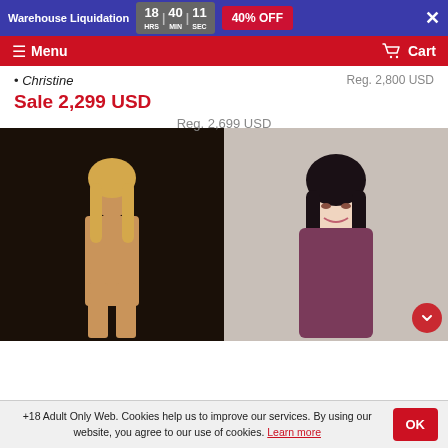Warehouse Liquidation 18 HRS 40 MIN 11 SEC 40% OFF
Menu | Cart
Christine
Reg. 2,800 USD
Sale 2,299 USD
Reg. 2,699 USD
[Figure (photo): Blonde female figure standing against dark background]
[Figure (photo): Dark-haired female figure in purple lingerie]
+18 Adult Only Web. Cookies help us to improve our services. By using our website, you agree to our use of cookies. Learn more